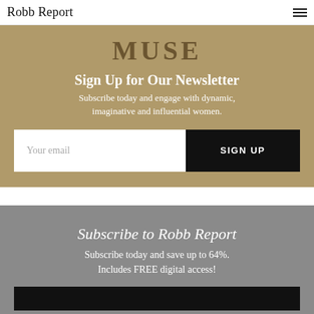Robb Report
MUSE
Sign Up for Our Newsletter
Subscribe today and engage with dynamic, imaginative and influential women.
Your email  SIGN UP
Subscribe to Robb Report
Subscribe today and save up to 64%. Includes FREE digital access!